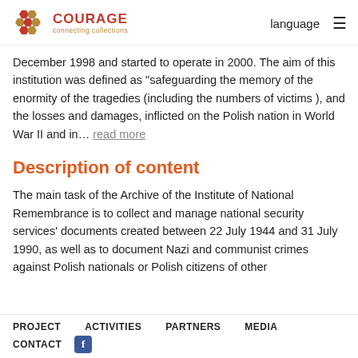COURAGE connecting collections | language ☰
December 1998 and started to operate in 2000. The aim of this institution was defined as "safeguarding the memory of the enormity of the tragedies (including the numbers of victims ), and the losses and damages, inflicted on the Polish nation in World War II and in… read more
Description of content
The main task of the Archive of the Institute of National Remembrance is to collect and manage national security services' documents created between 22 July 1944 and 31 July 1990, as well as to document Nazi and communist crimes against Polish nationals or Polish citizens of other nationalities committed between 8 November 1917 and 31
PROJECT  ACTIVITIES  PARTNERS  MEDIA  CONTACT  [Facebook icon]